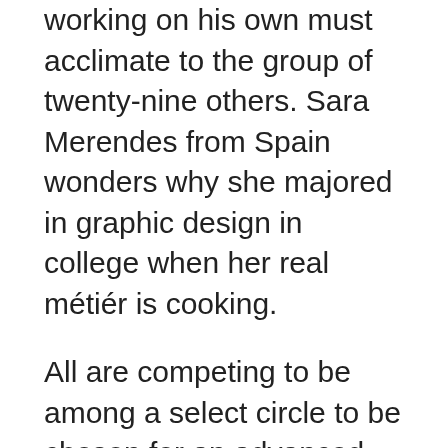working on his own must acclimate to the group of twenty-nine others. Sara Merendes from Spain wonders why she majored in graphic design in college when her real métiér is cooking.
All are competing to be among a select circle to be chosen for an advanced position in the restaurant's Research and Development program, which brings us to how this restaurant is probably unlike any for which you've dined. The food consists admittedly of dishes that a diner may either hate or love. The design is avant-garde given that some of the dishes include aged mole leaves and bone marrow; natto pie with palo cartado; snails in